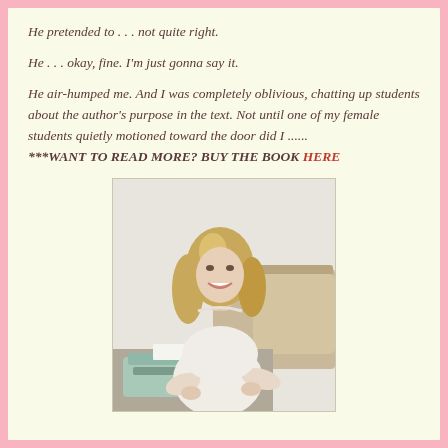He pretended to . . . not quite right.
He . . . okay, fine. I'm just gonna say it.
He air-humped me. And I was completely oblivious, chatting up students about the author's purpose in the text. Not until one of my female students quietly motioned toward the door did I ......
***WANT TO READ MORE? BUY THE BOOK HERE
[Figure (photo): Author photo: smiling blonde woman in white lace dress seated at a vintage typewriter, with a camel-colored sofa in the background]